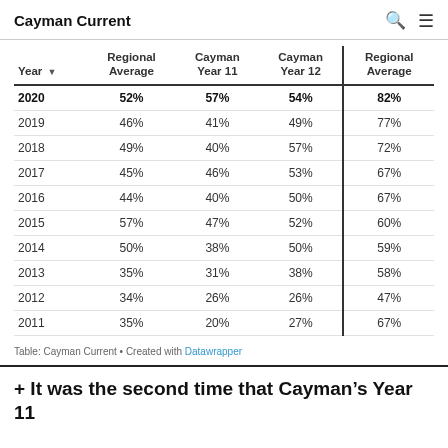Cayman Current
| Year | Regional Average | Cayman Year 11 | Cayman Year 12 | Regional Average |
| --- | --- | --- | --- | --- |
| 2020 | 52% | 57% | 54% | 82% |
| 2019 | 46% | 41% | 49% | 77% |
| 2018 | 49% | 40% | 57% | 72% |
| 2017 | 45% | 46% | 53% | 67% |
| 2016 | 44% | 40% | 50% | 67% |
| 2015 | 57% | 47% | 52% | 60% |
| 2014 | 50% | 38% | 50% | 59% |
| 2013 | 35% | 31% | 38% | 58% |
| 2012 | 34% | 26% | 26% | 47% |
| 2011 | 35% | 20% | 27% | 67% |
Table: Cayman Current · Created with Datawrapper
+ It was the second time that Cayman's Year 11